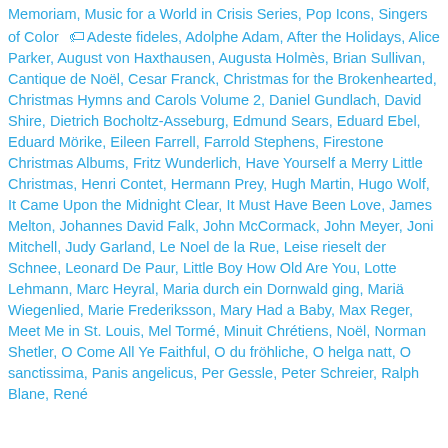Memoriam, Music for a World in Crisis Series, Pop Icons, Singers of Color 🏷 Adeste fideles, Adolphe Adam, After the Holidays, Alice Parker, August von Haxthausen, Augusta Holmès, Brian Sullivan, Cantique de Noël, Cesar Franck, Christmas for the Brokenhearted, Christmas Hymns and Carols Volume 2, Daniel Gundlach, David Shire, Dietrich Bocholtz-Asseburg, Edmund Sears, Eduard Ebel, Eduard Mörike, Eileen Farrell, Farrold Stephens, Firestone Christmas Albums, Fritz Wunderlich, Have Yourself a Merry Little Christmas, Henri Contet, Hermann Prey, Hugh Martin, Hugo Wolf, It Came Upon the Midnight Clear, It Must Have Been Love, James Melton, Johannes David Falk, John McCormack, John Meyer, Joni Mitchell, Judy Garland, Le Noel de la Rue, Leise rieselt der Schnee, Leonard De Paur, Little Boy How Old Are You, Lotte Lehmann, Marc Heyral, Maria durch ein Dornwald ging, Mariä Wiegenlied, Marie Frederiksson, Mary Had a Baby, Max Reger, Meet Me in St. Louis, Mel Tormé, Minuit Chrétiens, Noël, Norman Shetler, O Come All Ye Faithful, O du fröhliche, O helga natt, O sanctissima, Panis angelicus, Per Gessle, Peter Schreier, Ralph Blane, René